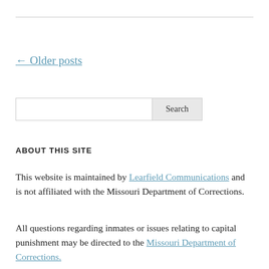← Older posts
[Figure (other): Search input box with Search button]
ABOUT THIS SITE
This website is maintained by Learfield Communications and is not affiliated with the Missouri Department of Corrections.
All questions regarding inmates or issues relating to capital punishment may be directed to the Missouri Department of Corrections.